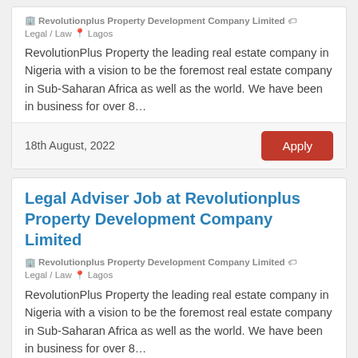Revolutionplus Property Development Company Limited  Legal / Law  Lagos
RevolutionPlus Property the leading real estate company in Nigeria with a vision to be the foremost real estate company in Sub-Saharan Africa as well as the world. We have been in business for over 8…
18th August, 2022
Legal Adviser Job at Revolutionplus Property Development Company Limited
Revolutionplus Property Development Company Limited  Legal / Law  Lagos
RevolutionPlus Property the leading real estate company in Nigeria with a vision to be the foremost real estate company in Sub-Saharan Africa as well as the world. We have been in business for over 8…